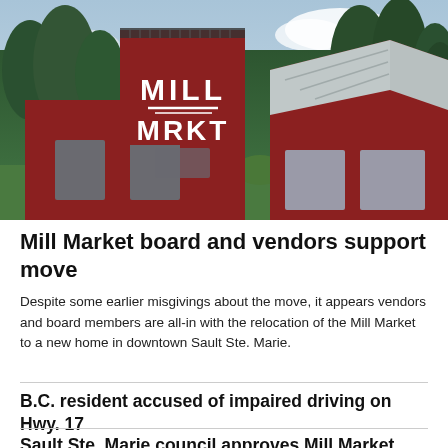[Figure (photo): Photograph of a red barn-style building with 'MILL MRKT' signage painted in white on the facade, surrounded by green trees and vegetation, with a metal roof and solar panels on top of the tower.]
Mill Market board and vendors support move
Despite some earlier misgivings about the move, it appears vendors and board members are all-in with the relocation of the Mill Market to a new home in downtown Sault Ste. Marie.
B.C. resident accused of impaired driving on Hwy. 17
Sault Ste. Marie council approves Mill Market move